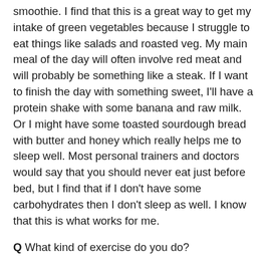smoothie. I find that this is a great way to get my intake of green vegetables because I struggle to eat things like salads and roasted veg. My main meal of the day will often involve red meat and will probably be something like a steak. If I want to finish the day with something sweet, I'll have a protein shake with some banana and raw milk. Or I might have some toasted sourdough bread with butter and honey which really helps me to sleep well. Most personal trainers and doctors would say that you should never eat just before bed, but I find that if I don't have some carbohydrates then I don't sleep as well. I know that this is what works for me.
Q What kind of exercise do you do?
Davinia: I generally try to run for about 40 minutes, three times a week. I go at my own pace rather than pushing myself too much. If I run for too long it can mess with my mental health and my mood takes a bit of a drop. So again I stick to what I know works for me. I'm going to start working